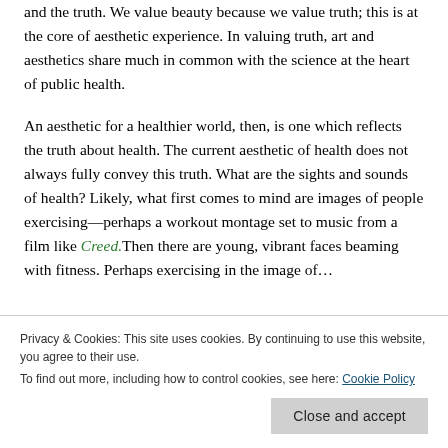and the truth. We value beauty because we value truth; this is at the core of aesthetic experience. In valuing truth, art and aesthetics share much in common with the science at the heart of public health.
An aesthetic for a healthier world, then, is one which reflects the truth about health. The current aesthetic of health does not always fully convey this truth. What are the sights and sounds of health? Likely, what first comes to mind are images of people exercising—perhaps a workout montage set to music from a film like Creed. Then there are young, vibrant faces beaming with fitness. Perhaps exercising in the image of...
Privacy & Cookies: This site uses cookies. By continuing to use this website, you agree to their use.
To find out more, including how to control cookies, see here: Cookie Policy
Close and accept
version of the pursuit of health, which does not consider